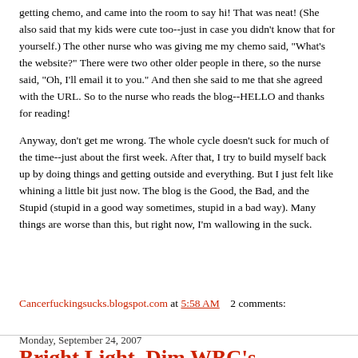getting chemo, and came into the room to say hi! That was neat! (She also said that my kids were cute too--just in case you didn't know that for yourself.) The other nurse who was giving me my chemo said, "What's the website?" There were two other older people in there, so the nurse said, "Oh, I'll email it to you." And then she said to me that she agreed with the URL. So to the nurse who reads the blog--HELLO and thanks for reading!
Anyway, don't get me wrong. The whole cycle doesn't suck for much of the time--just about the first week. After that, I try to build myself back up by doing things and getting outside and everything. But I just felt like whining a little bit just now. The blog is the Good, the Bad, and the Stupid (stupid in a good way sometimes, stupid in a bad way). Many things are worse than this, but right now, I'm wallowing in the suck.
Cancerfuckingsucks.blogspot.com at 5:58 AM    2 comments:
Monday, September 24, 2007
Bright Light, Dim WBC's